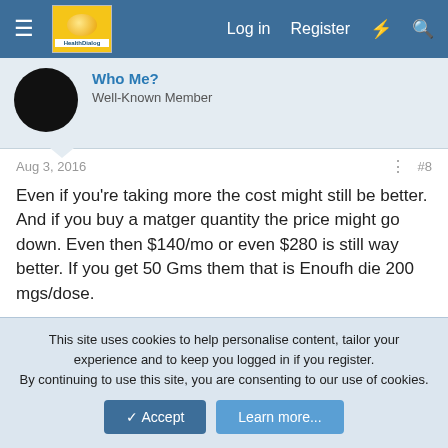HealthDialog — Log in  Register
Who Me?
Well-Known Member
Aug 3, 2016  #8
Even if you're taking more the cost might still be better. And if you buy a matger quantity the price might go down. Even then $140/mo or even $280 is still way better. If you get 50 Gms them that is Enoufh die 200 mgs/dose.

Or call Steven's and ask to speak to Charles. He's the head pharmacist and he gave me the dosing. I've read this way works better than the ampules so you might be ok with a little less. This is pure powder.
This site uses cookies to help personalise content, tailor your experience and to keep you logged in if you register.
By continuing to use this site, you are consenting to our use of cookies.
Accept  Learn more...